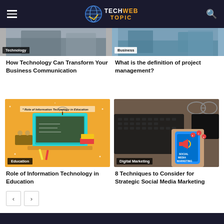TechWebTopic — site header with hamburger menu and search icon
[Figure (screenshot): Partially visible Technology category article image (top, left column)]
Technology
[Figure (screenshot): Partially visible Business category article image (top, right column)]
Business
How Technology Can Transform Your Business Communication
What is the definition of project management?
[Figure (illustration): Role of Information Technology in Education — colorful infographic with laptop, students, classroom on orange background]
Education
[Figure (photo): Hands holding a smartphone showing Social Media Marketing app, with laptop and glasses in background — Digital Marketing category]
Digital Marketing
Role of Information Technology in Education
8 Techniques to Consider for Strategic Social Media Marketing
Pagination: previous and next buttons